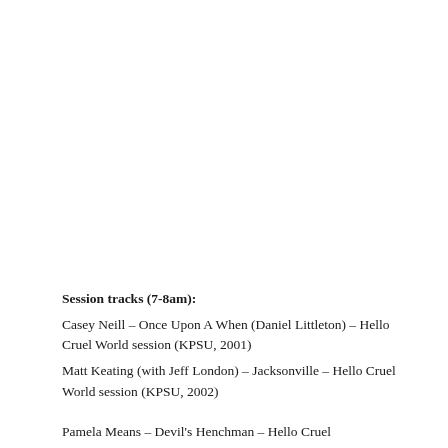Session tracks (7-8am):
Casey Neill – Once Upon A When (Daniel Littleton) – Hello Cruel World session (KPSU, 2001)
Matt Keating (with Jeff London) – Jacksonville – Hello Cruel World session (KPSU, 2002)
Pamela Means – Devil's Henchman – Hello Cruel World session (KPSU, ...)